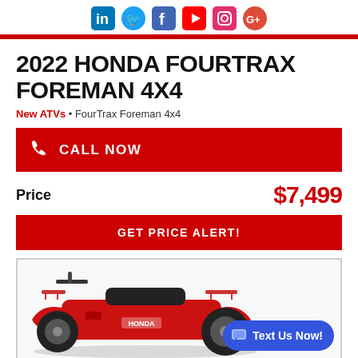Social media icons: LinkedIn, Twitter, Facebook, YouTube, Instagram, Google+
2022 HONDA FOURTRAX FOREMAN 4X4
New ATVs • FourTrax Foreman 4x4
CALL NOW
Price $7,499
GET PRICE ALERT!
[Figure (photo): Red Honda FourTrax Foreman 4x4 ATV with a blue 'Text Us Now!' chat button overlay in the bottom right corner.]